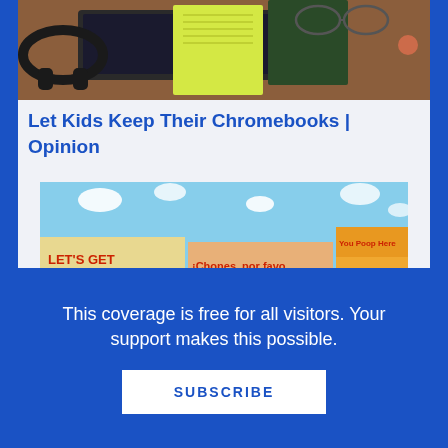[Figure (photo): Photo of a desk with headphones, laptop, yellow notepad, and books]
Let Kids Keep Their Chromebooks | Opinion
[Figure (photo): Children's book covers including 'Let's Get This Potty Started', 'iChones, por favor Undies, Please', 'Goldilocks and the Just Right Potty', 'You Poop Here']
This coverage is free for all visitors. Your support makes this possible.
SUBSCRIBE